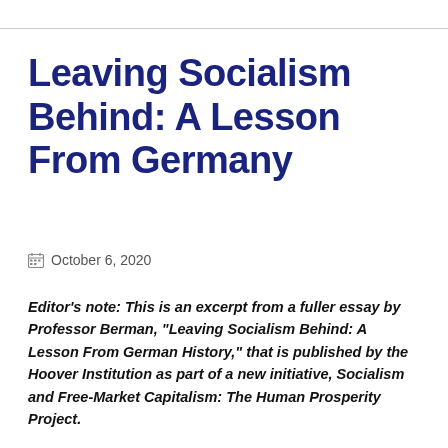Leaving Socialism Behind: A Lesson From Germany
October 6, 2020
Editor’s note: This is an excerpt from a fuller essay by Professor Berman, “Leaving Socialism Behind: A Lesson From German History,” that is published by the Hoover Institution as part of a new initiative, Socialism and Free-Market Capitalism: The Human Prosperity Project.